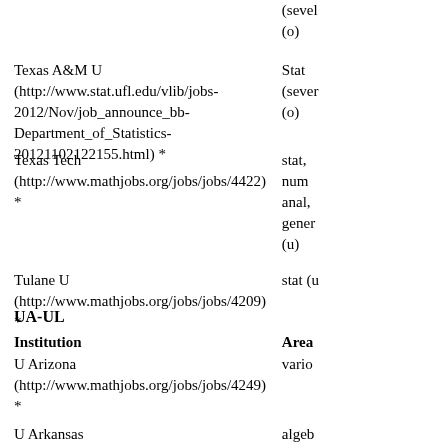(sevel
(o)
Texas A&M U (http://www.stat.ufl.edu/vlib/jobs-2012/Nov/job_announce_bb-Department_of_Statistics-20121102122155.html) *	Stat
(sever
(o)
Texas Tech (http://www.mathjobs.org/jobs/jobs/4422) *	stat,
num
anal,
gener
(u)
Tulane U (http://www.mathjobs.org/jobs/jobs/4209) *	stat (u
UA-UL
Institution	Area
U Arizona (http://www.mathjobs.org/jobs/jobs/4249) *	vario
U Arkansas (http://www.mathjobs.org/jobs/jobs/4249) *	algeb